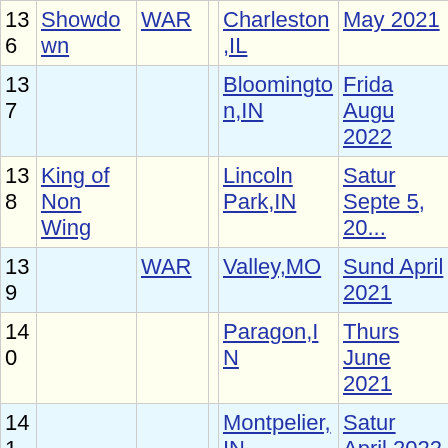| # | Name | Sanction |  | Location | Date |
| --- | --- | --- | --- | --- | --- |
| 136 | Showdown | WAR |  | Charleston,IL | May 2021 |
| 137 |  |  |  | Bloomington,IN | Friday August 2022 |
| 138 | King of Non Wing |  |  | Lincoln Park,IN | Saturday Septe 5, 20... |
| 139 |  | WAR |  | Valley,MO | Sunday April 2021 |
| 140 |  |  |  | Paragon,IN | Thursday June 2021 |
| 141 |  |  |  | Montpelier,IN | Saturday April 2022 |
| 142 |  | MSCS |  | Tri-State,IN | Sunday June 2021 |
| 143 |  |  |  | Gas City,IN | Friday Septe... |